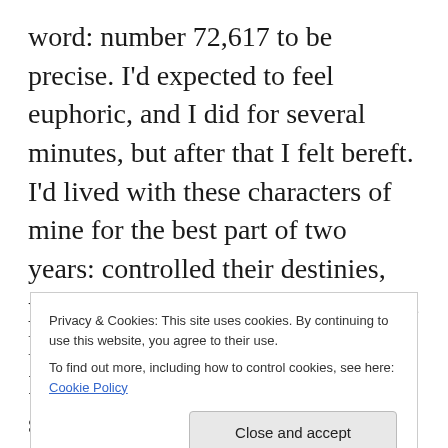word: number 72,617 to be precise. I'd expected to feel euphoric, and I did for several minutes, but after that I felt bereft. I'd lived with these characters of mine for the best part of two years: controlled their destinies, put words into their mouths. It was like having imaginary friends, and I hadn't had an imaginary friend since I was ten years old. It was a solitary childhood. OK? The consequence of spending the summer holidays reading books and improving my mind, instead of playing footie on the common with the other lads from my neighbourhood. By the time I got to Secondary School, I was a crap footballer
Privacy & Cookies: This site uses cookies. By continuing to use this website, you agree to their use.
To find out more, including how to control cookies, see here: Cookie Policy
Close and accept